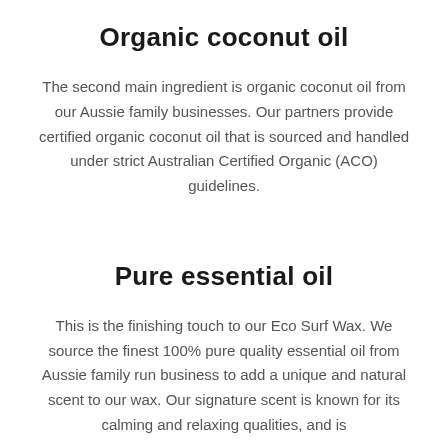Organic coconut oil
The second main ingredient is organic coconut oil from our Aussie family businesses. Our partners provide certified organic coconut oil that is sourced and handled under strict Australian Certified Organic (ACO) guidelines.
Pure essential oil
This is the finishing touch to our Eco Surf Wax. We source the finest 100% pure quality essential oil from Aussie family run business to add a unique and natural scent to our wax. Our signature scent is known for its calming and relaxing qualities, and is